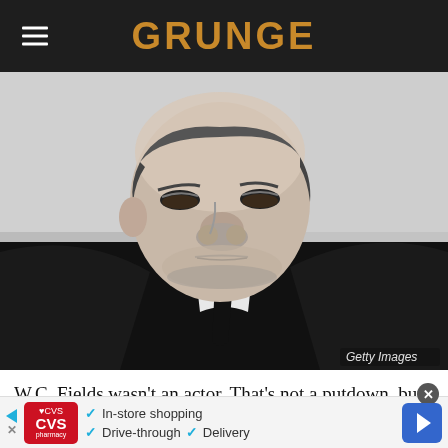GRUNGE
[Figure (photo): Black and white portrait photograph of W.C. Fields, a heavyset older man wearing a dark suit with white shirt and dark tie, looking stern. Getty Images watermark in bottom right.]
W.C. Fields wasn't an actor. That's not a putdown, but a
[Figure (other): CVS Pharmacy advertisement banner showing CVS logo and bullet points: In-store shopping, Drive-through, Delivery. Navigation arrow icon on right side.]